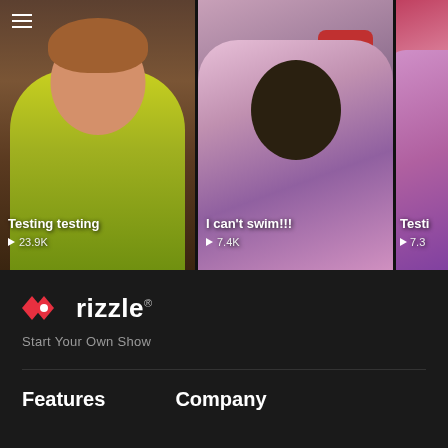[Figure (screenshot): Video thumbnail 1: man smiling in green/multicolor tank top, indoor background. Title: Testing testing, Views: 23.9K]
[Figure (screenshot): Video thumbnail 2: person in multicolor (pink/purple) top, indoor background with red backpack. Title: I can't swim!!!, Views: 7.4K]
[Figure (screenshot): Video thumbnail 3: partial view, same multicolor top, partially visible. Title: Testi..., Views: 7.3K]
[Figure (logo): Rizzle logo - red/pink geometric icon with white dot, followed by bold white text 'rizzle' with registered trademark symbol]
Start Your Own Show
Features
Company